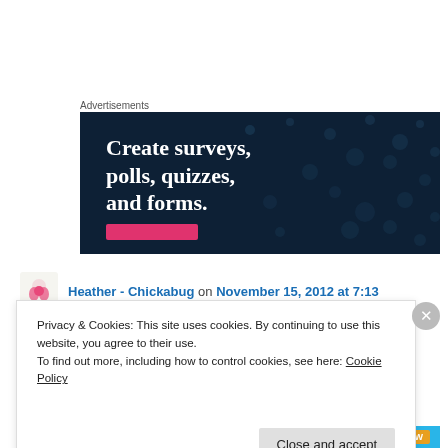Advertisements
[Figure (screenshot): Advertisement banner with dark navy background and dot pattern. Text reads: 'Create surveys, polls, quizzes, and forms.' with a pink/red button below.]
Heather - Chickabug on November 15, 2012 at 7:13
Privacy & Cookies: This site uses cookies. By continuing to use this website, you agree to their use.
To find out more, including how to control cookies, see here: Cookie Policy
Close and accept